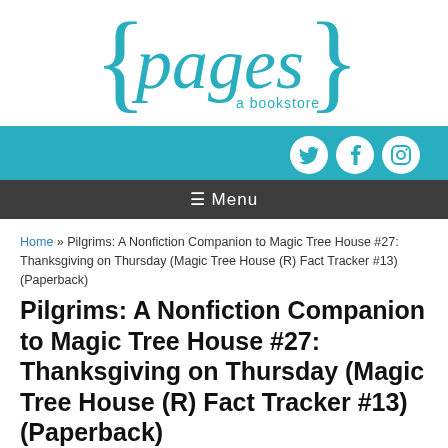[Figure (logo): Pages a bookstore logo with curly braces in teal]
[Figure (infographic): Teal social bar with Twitter, Facebook, Instagram icons and dark menu bar with hamburger menu and Menu text]
Home » Pilgrims: A Nonfiction Companion to Magic Tree House #27: Thanksgiving on Thursday (Magic Tree House (R) Fact Tracker #13) (Paperback)
Pilgrims: A Nonfiction Companion to Magic Tree House #27: Thanksgiving on Thursday (Magic Tree House (R) Fact Tracker #13) (Paperback)